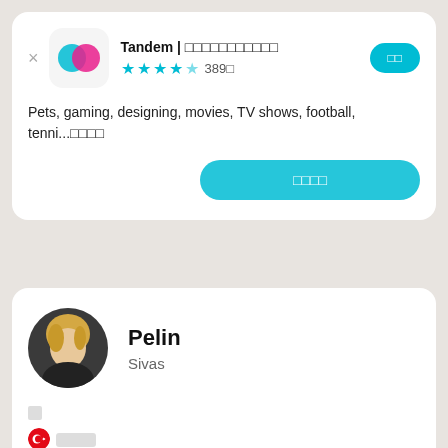Tandem | □□□□□□□□□□□
★★★★★ 389□
□□
Pets, gaming, designing, movies, TV shows, football, tenni...□□□□
□□□□
[Figure (photo): Profile photo of Pelin, a young blonde person]
Pelin
Sivas
□
□□□□
□